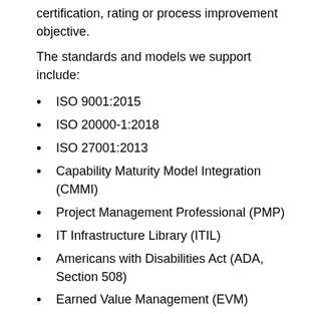certification, rating or process improvement objective.
The standards and models we support include:
ISO 9001:2015
ISO 20000-1:2018
ISO 27001:2013
Capability Maturity Model Integration (CMMI)
Project Management Professional (PMP)
IT Infrastructure Library (ITIL)
Americans with Disabilities Act (ADA, Section 508)
Earned Value Management (EVM)
ITG's Quality, Standards & Performance Group provides consulting, training, implementation, and appraisal services. We can help your organization: